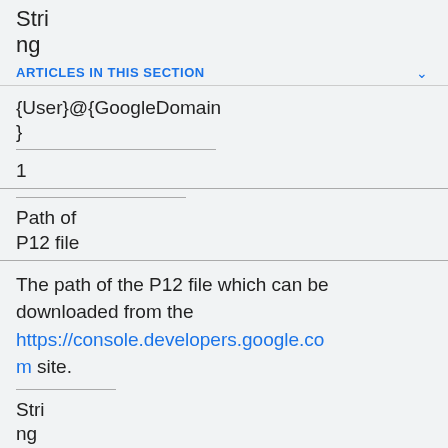String
ARTICLES IN THIS SECTION
{User}@{GoogleDomain}
1
Path of P12 file
The path of the P12 file which can be downloaded from the https://console.developers.google.com site.
String
C:/Users/Administrator/